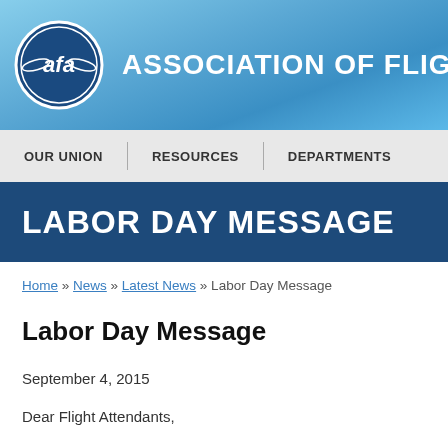[Figure (logo): Association of Flight Attendants (AFA) logo — circular badge with stylized 'afa' letters in white on dark blue background, with decorative wing motifs]
ASSOCIATION OF FLIGHT ATTEN
OUR UNION | RESOURCES | DEPARTMENTS
LABOR DAY MESSAGE
Home » News » Latest News » Labor Day Message
Labor Day Message
September 4, 2015
Dear Flight Attendants,